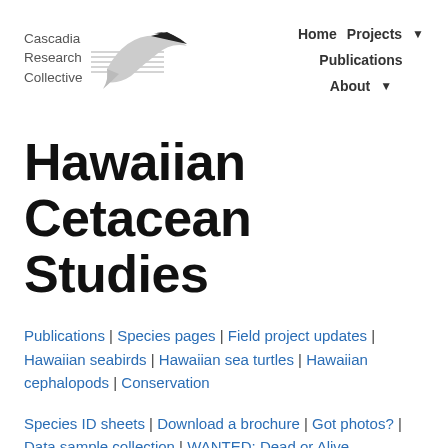[Figure (logo): Cascadia Research Collective logo with whale/bird silhouette and horizontal lines]
Home   Projects ▾   Publications   About ▾
Hawaiian Cetacean Studies
Publications | Species pages | Field project updates | Hawaiian seabirds | Hawaiian sea turtles | Hawaiian cephalopods | Conservation
Species ID sheets | Download a brochure | Got photos? | Data sample collection | WANTED: Dead or Alive